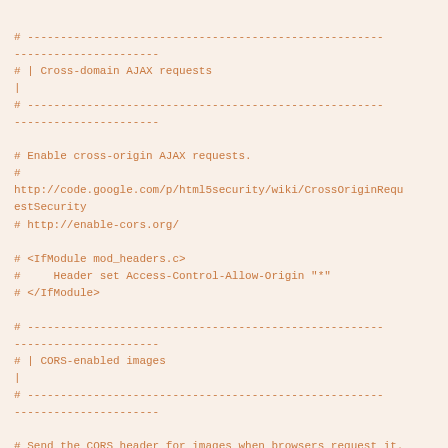# ------------------------------------------------------
----------------------
# | Cross-domain AJAX requests
|
# ------------------------------------------------------
----------------------

# Enable cross-origin AJAX requests.
#
http://code.google.com/p/html5security/wiki/CrossOriginRequestSecurity
# http://enable-cors.org/

# <IfModule mod_headers.c>
#     Header set Access-Control-Allow-Origin "*"
# </IfModule>

# ------------------------------------------------------
----------------------
# | CORS-enabled images
|
# ------------------------------------------------------
----------------------

# Send the CORS header for images when browsers request it.